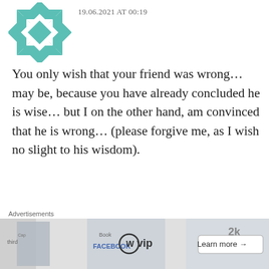[Figure (logo): Teal/green geometric star-like avatar icon (quilt pattern design)]
19.06.2021 AT 00:19
You only wish that your friend was wrong… may be, because you have already concluded he is wise… but I on the other hand, am convinced that he is wrong… (please forgive me, as I wish no slight to his wisdom).
We live in a world of cause, and effect… what was the cause of the anger expressed by the young men…? Which
Advertisements
[Figure (logo): WordPress VIP advertisement banner with WP logo and 'Learn more' button]